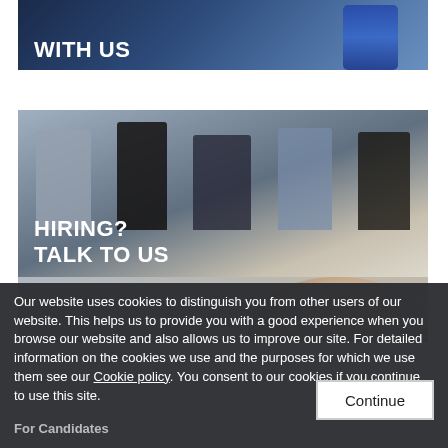[Figure (photo): Banner image with text 'REGISTER WITH US' overlaid on dark background with phone graphic]
[Figure (photo): Photo of people sitting in a row (job candidates waiting), with text 'HIRING? TALK TO US' overlaid in white bold]
Our website uses cookies to distinguish you from other users of our website. This helps us to provide you with a good experience when you browse our website and also allows us to improve our site. For detailed information on the cookies we use and the purposes for which we use them see our Cookie policy. You consent to our cookies if you continue to use this site.
Continue
For Candidates